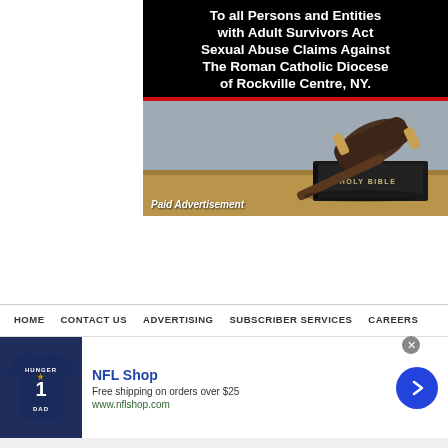[Figure (illustration): Legal notice advertisement with black background showing text 'To all Persons and Entities with Adult Survivors Act Sexual Abuse Claims Against The Roman Catholic Diocese of Rockville Centre, NY.' in white bold font, a red divider bar, and a photo of a judge's gavel resting on a Holy Bible on a wooden surface. Bottom left has italic text 'Paid Advertisement'.]
HOME   CONTACT US   ADVERTISING   SUBSCRIBER SERVICES   CAREERS
[Figure (screenshot): NFL Shop advertisement banner showing a Dallas Cowboys jersey (navy blue, number 1, DAD), brand name 'NFL Shop' in blue, text 'Free shipping on orders over $25' and URL 'www.nflshop.com', with a blue circular arrow button on the right. Close button (x) in gray circle at top right.]